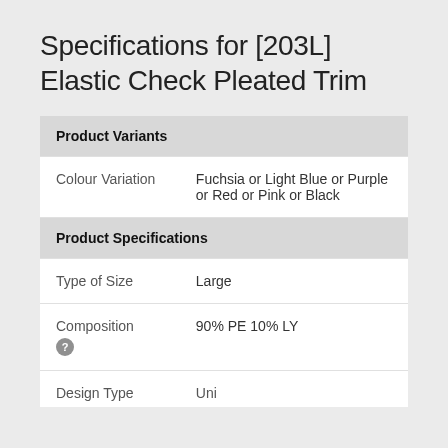Specifications for [203L] Elastic Check Pleated Trim
| Product Variants |  |
| Colour Variation | Fuchsia or Light Blue or Purple or Red or Pink or Black |
| Product Specifications |  |
| Type of Size | Large |
| Composition | 90% PE 10% LY |
| Design Type | Uni |